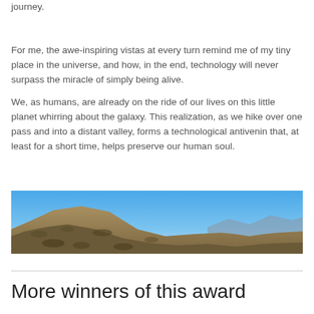journey.
For me, the awe-inspiring vistas at every turn remind me of my tiny place in the universe, and how, in the end, technology will never surpass the miracle of simply being alive.
We, as humans, are already on the ride of our lives on this little planet whirring about the galaxy. This realization, as we hike over one pass and into a distant valley, forms a technological antivenin that, at least for a short time, helps preserve our human soul.
[Figure (photo): Panoramic photo of a desert mountain ridge under a clear blue sky, with dry scrubland hills and distant mountains.]
More winners of this award